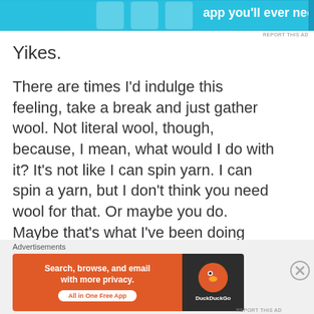[Figure (other): Blue advertisement banner at top of page with icons]
Yikes.
There are times I'd indulge this feeling, take a break and just gather wool. Not literal wool, though, because, I mean, what would I do with it? It's not like I can spin yarn. I can spin a yarn, but I don't think you need wool for that. Or maybe you do. Maybe that's what I've been doing wrong.
Maybe I should ask Hugh Howey.
Huh, look at that. I managed to put together an entire blog post. Next stop, the WORLD!
Advertisements
[Figure (other): DuckDuckGo advertisement banner: Search, browse, and email with more privacy. All in One Free App]